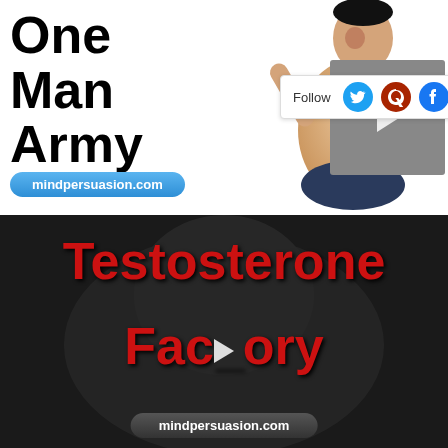[Figure (screenshot): Top half: white background with bold black text 'One Man Army', a martial artist figure on the right, a video thumbnail overlay, a 'Follow' social media bar with Twitter, Quora, Facebook, Pinterest icons, and a blue pill badge reading 'mindpersuasion.com']
[Figure (screenshot): Bottom half: dark background video thumbnail with large red bold text 'Testosterone Factory', a play button in the center, and a dark pill badge reading 'mindpersuasion.com']